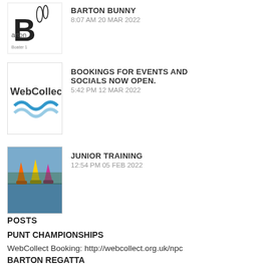[Figure (illustration): Barton Bunny logo thumbnail — rabbit with text 'arton Bu']
BARTON BUNNY
8:07 AM 20 MAR 2022
[Figure (logo): WebCollect logo thumbnail — text 'WebCollec' with blue wave]
BOOKINGS FOR EVENTS AND SOCIALS NOW OPEN.
5:42 PM 12 MAR 2022
[Figure (photo): Junior training photo — colourful sailing dinghies on water]
JUNIOR TRAINING
12:54 PM 05 FEB 2022
POSTS
PUNT CHAMPIONSHIPS
WebCollect Booking: http://webcollect.org.uk/npc
BARTON REGATTA
Please click the link below for full details.